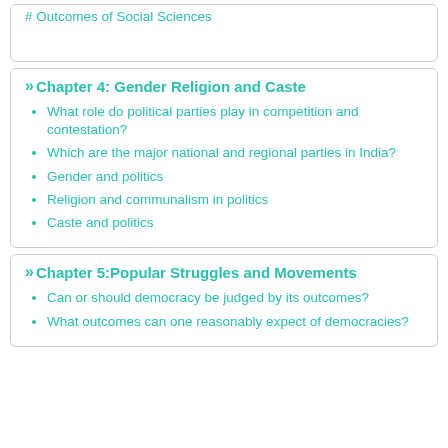# Outcomes of Social Sciences
»Chapter 4: Gender Religion and Caste
What role do political parties play in competition and contestation?
Which are the major national and regional parties in India?
Gender and politics
Religion and communalism in politics
Caste and politics
»Chapter 5:Popular Struggles and Movements
Can or should democracy be judged by its outcomes?
What outcomes can one reasonably expect of democracies?